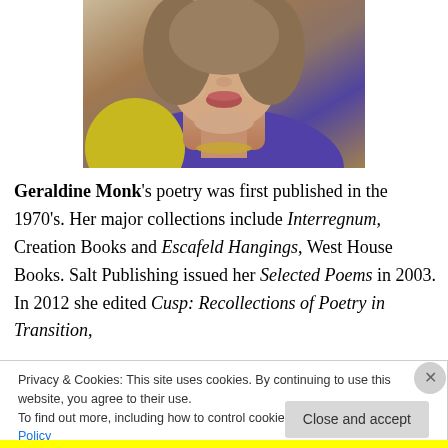[Figure (photo): Cropped photo of Geraldine Monk showing face and upper body, wearing a purple top with a yellow/gold element visible]
Geraldine Monk's poetry was first published in the 1970's. Her major collections include Interregnum, Creation Books and Escafeld Hangings, West House Books. Salt Publishing issued her Selected Poems in 2003. In 2012 she edited Cusp: Recollections of Poetry in Transition,
Privacy & Cookies: This site uses cookies. By continuing to use this website, you agree to their use.
To find out more, including how to control cookies, see here: Cookie Policy